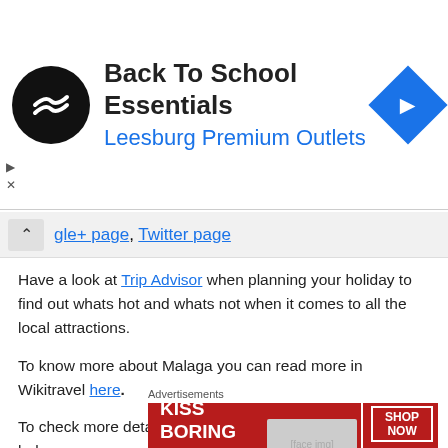[Figure (screenshot): Ad banner: Back To School Essentials by Leesburg Premium Outlets with logo and navigation icon]
gle+ page, Twitter page
Have a look at Trip Advisor when planning your holiday to find out whats hot and whats not when it comes to all the local attractions.
To know more about Malaga you can read more in Wikitravel here.
To check more details about flights, check screenshot below:
Oslo (Torp) → Malaga
Advertisements
[Figure (screenshot): Macy's advertisement: KISS BORING LIPS GOODBYE with SHOP NOW button]